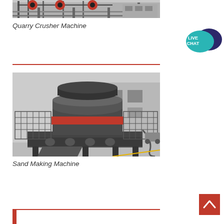[Figure (photo): Quarry crusher machine industrial equipment with conveyor belts and red wheels on metal frame structure]
Quarry Crusher Machine
[Figure (photo): Sand making machine - large industrial vertical shaft impact crusher with red and dark grey body on metal platform frame]
Sand Making Machine
[Figure (illustration): Live Chat speech bubble icon in teal and dark blue with text LIVE CHAT]
[Figure (other): Back to top button - red square with white upward chevron arrow]